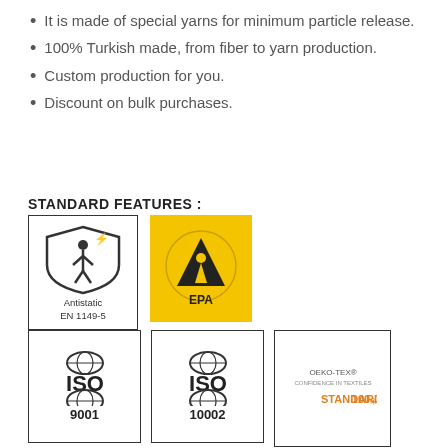It is made of special yarns for minimum particle release.
100% Turkish made, from fiber to yarn production.
Custom production for you.
Discount on bulk purchases.
STANDARD FEATURES :
[Figure (logo): Antistatic EN 1149-5 certification logo — shield with person symbol]
[Figure (logo): EPA (Electrostatic Protected Area) logo — yellow background with triangle and person symbol]
[Figure (logo): ISO 9001 certification logo]
[Figure (logo): ISO 10002 certification logo]
[Figure (logo): OEKO-TEX STANDARD 100 certification logo]